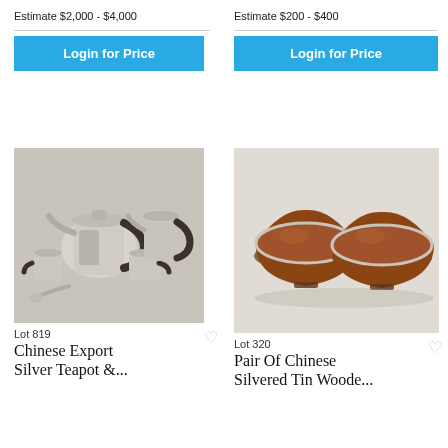Estimate $2,000 - $4,000
Login for Price
Estimate $200 - $400
Login for Price
[Figure (photo): Chinese Export Silver Teapot and tea service set with dark handles, multiple pieces including sugar and creamer]
Lot 819
Chinese Export Silver Teapot &...
[Figure (photo): Pair of Chinese Silvered Tin Wooden bowls, two brown/copper-toned bowls side by side]
Lot 320
Pair Of Chinese Silvered Tin Woode...